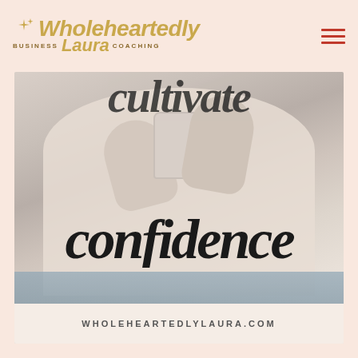[Figure (logo): Wholeheartedly Laura Business Coaching logo with sparkle/diamond icons in gold]
[Figure (photo): Close-up photo of person in cream/beige knit sweater holding a mug, with overlaid brush-script text reading 'cultivate confidence' and website URL at bottom]
WHOLEHEARTEDLYLAURA.COM